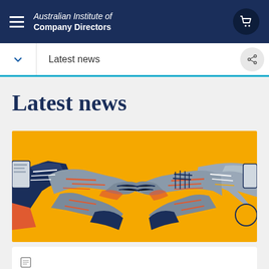Australian Institute of Company Directors
Latest news
[Figure (illustration): Stylized illustration of two hands shaking against a yellow/orange background with navy blue, grey, and orange color palette representing a business handshake.]